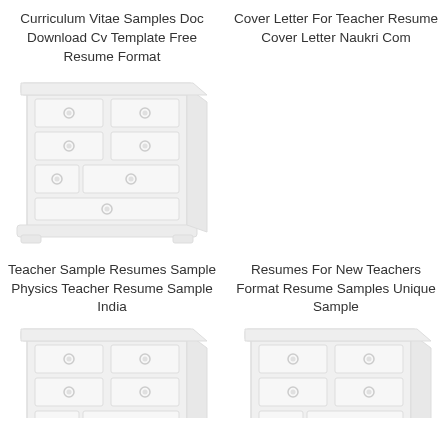Curriculum Vitae Samples Doc Download Cv Template Free Resume Format
Cover Letter For Teacher Resume Cover Letter Naukri Com
[Figure (illustration): Light gray illustration of a chest of drawers/dresser with multiple drawers and circular handles]
[Figure (illustration): Empty white area (no image visible)]
Teacher Sample Resumes Sample Physics Teacher Resume Sample India
Resumes For New Teachers Format Resume Samples Unique Sample
[Figure (illustration): Light gray illustration of a chest of drawers/dresser, partially cropped at bottom]
[Figure (illustration): Light gray illustration of a chest of drawers/dresser, partially cropped at bottom]